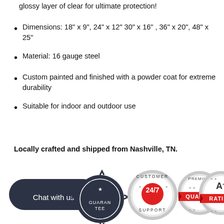glossy layer of clear for ultimate protection!
Dimensions: 18" x 9", 24" x 12" 30" x 16" , 36" x 20", 48" x 25"
Material: 16 gauge steel
Custom painted and finished with a powder coat for extreme durability
Suitable for indoor and outdoor use
Locally crafted and shipped from Nashville, TN.
[Figure (infographic): Four badge/seal icons at the bottom: a dark guarantee badge (partially visible), a Customer 24/7 Support badge, a Premium Quality badge with red ribbon, and an A+ Rating badge with red ribbon. Also a 'Chat with us' dark rounded button.]